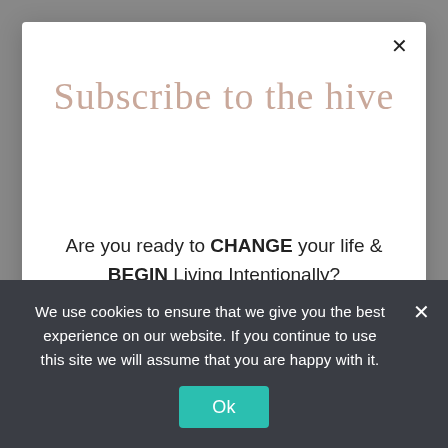Subscribe to the hive
Are you ready to CHANGE your life & BEGIN Living Intentionally?

Join the La.Rue Thrive Hive Today!
[Figure (screenshot): Form input field with placeholder text 'First name']
[Figure (screenshot): Form input field (partially visible, second field)]
We use cookies to ensure that we give you the best experience on our website. If you continue to use this site we will assume that you are happy with it.